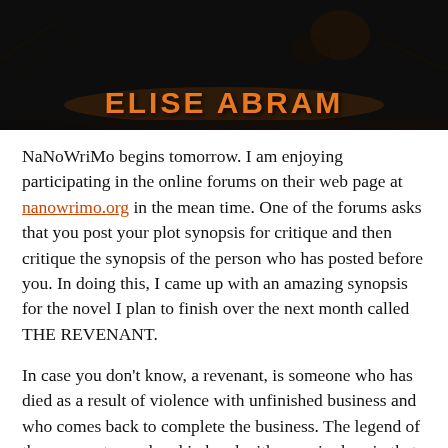[Figure (photo): Book cover or author banner image with dark background showing name ELISE ABRAM in large orange bold letters at the bottom]
NaNoWriMo begins tomorrow. I am enjoying participating in the online forums on their web page at nanowrimo.org in the mean time. One of the forums asks that you post your plot synopsis for critique and then critique the synopsis of the person who has posted before you. In doing this, I came up with an amazing synopsis for the novel I plan to finish over the next month called THE REVENANT.
In case you don't know, a revenant, is someone who has died as a result of violence with unfinished business and who comes back to complete the business. The legend of the revenant goes hand in hand with vampire lore in that many revenants were also thought to have been vampires.
In THE REVENANT, Janke, a farm boy, is thrown and trampled